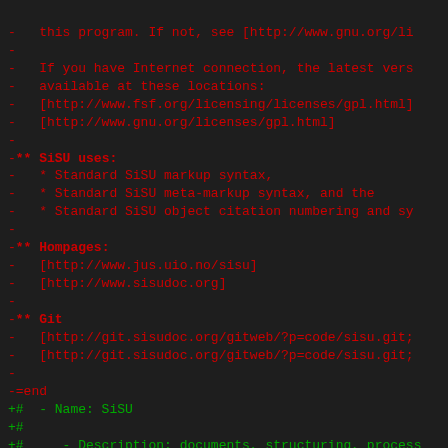diff code block showing removed (red) and added (green) lines of a software license/metadata file for SiSU
-   this program. If not, see [http://www.gnu.org/li
-
-   If you have Internet connection, the latest vers
-   available at these locations:
-   [http://www.fsf.org/licensing/licenses/gpl.html]
-   [http://www.gnu.org/licenses/gpl.html]
-
-** SiSU uses:
-   * Standard SiSU markup syntax,
-   * Standard SiSU meta-markup syntax, and the
-   * Standard SiSU object citation numbering and sy
-
-** Hompages:
-   [http://www.jus.uio.no/sisu]
-   [http://www.sisudoc.org]
-
-** Git
-   [http://git.sisudoc.org/gitweb/?p=code/sisu.git;
-   [http://git.sisudoc.org/gitweb/?p=code/sisu.git;
-
-=end
+#  - Name: SiSU
+#
+#     - Description: documents, structuring, process
+#       abstraction
+#
+#     - Author: Ralph Amissah
+#       <ralph.amissah@gmail.com>
+#
+#     - Copyright: (C) 1997, 1998, 1999, 2000, 2001,